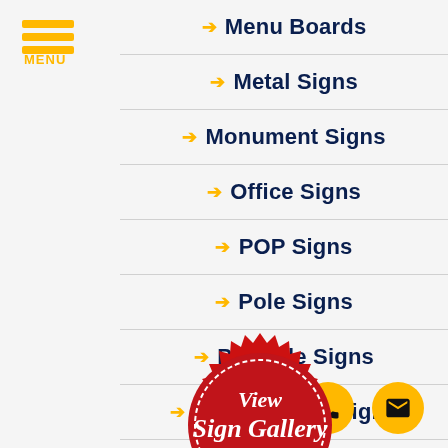Menu Boards
Metal Signs
Monument Signs
Office Signs
POP Signs
Pole Signs
Portable Signs
Post & Panel Signs
Printed Backdrops
[Figure (logo): Red badge/seal with cursive text 'View Sign Gallery' and gold ribbon banner reading 'CLICK HERE']